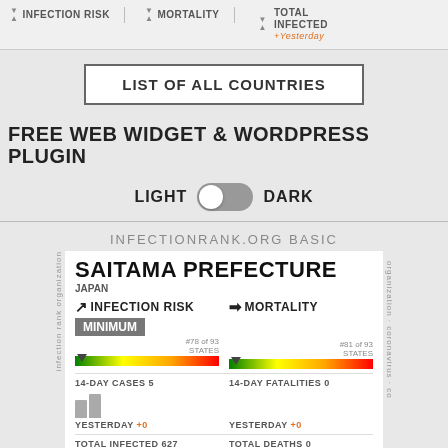INFECTION RISK | MORTALITY | TOTAL INFECTED +Yesterday
LIST OF ALL COUNTRIES
FREE WEB WIDGET & WORDPRESS PLUGIN
LIGHT DARK
INFECTIONRANK.ORG BASIC
SAITAMA PREFECTURE
JAPAN
INFECTION RISK MINIMUM #78 of 93 STATES
MORTALITY #81 of 93 STATES
14-DAY CASES 5
14-DAY FATALITIES 0
YESTERDAY +0
YESTERDAY +0
TOTAL INFECTED 627
TOTAL DEATHS 0
0.009%
0.000%